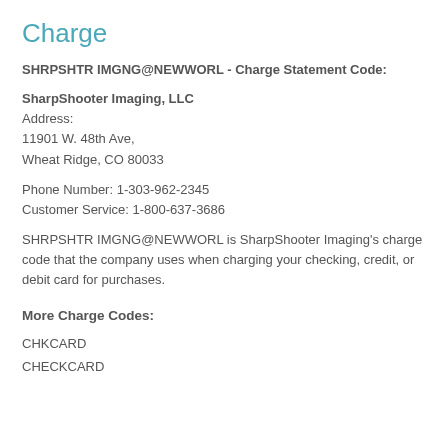Charge
SHRPSHTR IMGNG@NEWWORL - Charge Statement Code:
SharpShooter Imaging, LLC
Address:
11901 W. 48th Ave,
Wheat Ridge, CO 80033
Phone Number: 1-303-962-2345
Customer Service: 1-800-637-3686
SHRPSHTR IMGNG@NEWWORL is SharpShooter Imaging's charge code that the company uses when charging your checking, credit, or debit card for purchases.
More Charge Codes:
CHKCARD
CHECKCARD